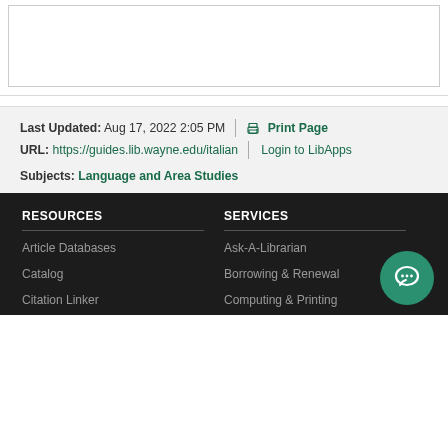[Figure (screenshot): White box with border at top of page, partially cropped]
Last Updated: Aug 17, 2022 2:05 PM | URL: https://guides.lib.wayne.edu/italian | Print Page Login to LibApps
Subjects: Language and Area Studies
RESOURCES
SERVICES
Article Databases
Ask-A-Librarian
Catalog
Borrowing & Renewal
Citation Linker
Computing & Printing